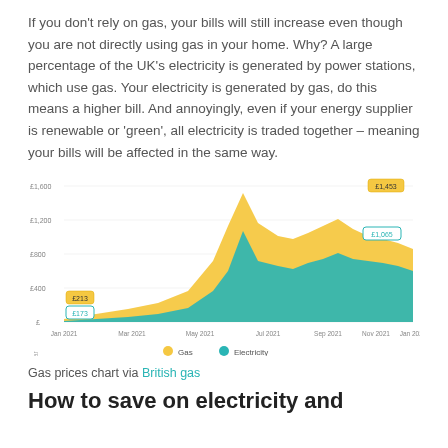If you don't rely on gas, your bills will still increase even though you are not directly using gas in your home. Why? A large percentage of the UK's electricity is generated by power stations, which use gas. Your electricity is generated by gas, do this means a higher bill. And annoyingly, even if your energy supplier is renewable or 'green', all electricity is traded together – meaning your bills will be affected in the same way.
[Figure (area-chart): Wholesale cost per year]
Gas prices chart via British gas
How to save on electricity and